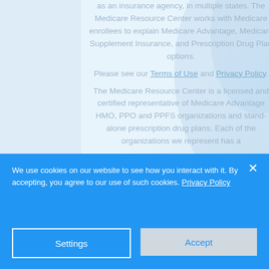as an insurance agency, in multiple states. The Medicare Resource Center works with Medicare enrollees to explain Medicare Advantage, Medicare Supplement Insurance, and Prescription Drug Plan options. Please see our Terms of Use and Privacy Policy. The Medicare Resource Center is a licensed and certified representative of Medicare Advantage HMO, PPO and PPFS organizations and stand-alone prescription drug plans. Each of the organizations we represent has a
We use cookies on our website to see how you interact with it. By accepting, you agree to our use of such cookies. Privacy Policy